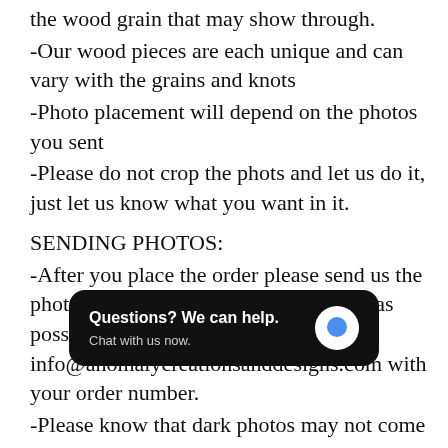the wood grain that may show through.
-Our wood pieces are each unique and can vary with the grains and knots
-Photo placement will depend on the photos you sent
-Please do not crop the phots and let us do it, just let us know what you want in it.
SENDING PHOTOS:
-After you place the order please send us the photo as high of resolution and quality as possible and attach here, or email to info@anomalycreationsanddesigns.com with your order number.
-Please know that dark photos may not come out well. Please send cle
-Please do not [obscured by widget] something cropped please send us the original and we can do so